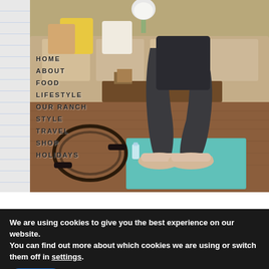[Figure (photo): Woman doing a squat exercise on a teal yoga mat in a living room with a sofa, decorative pillows, and a jump rope visible on the floor. Navigation menu overlaid on the left side of the image with items: HOME, ABOUT, FOOD, LIFESTYLE, OUR RANCH, STYLE, TRAVEL, SHOP, HOLIDAYS.]
We are using cookies to give you the best experience on our website. You can find out more about which cookies we are using or switch them off in settings.
Accept